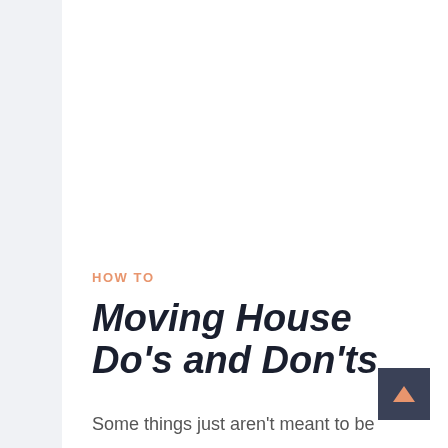HOW TO
Moving House Do's and Don'ts
Some things just aren't meant to be